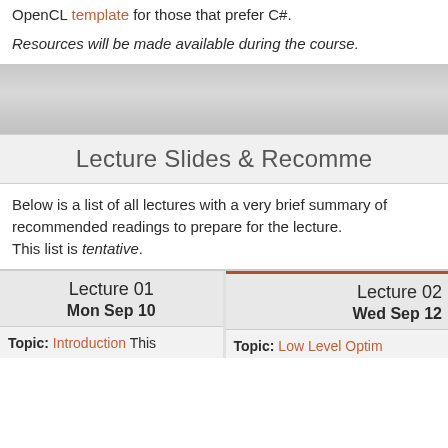OpenCL template for those that prefer C#.
Resources will be made available during the course.
Lecture Slides & Recommended Readings
Below is a list of all lectures with a very brief summary of recommended readings to prepare for the lecture. This list is tentative.
| Lecture 01 Mon Sep 10 | Lecture 02 Wed Sep 12 |
| --- | --- |
| Topic: Introduction This | Topic: Low Level Optim... |